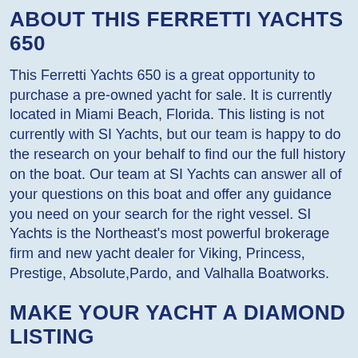ABOUT THIS FERRETTI YACHTS 650
This Ferretti Yachts 650 is a great opportunity to purchase a pre-owned yacht for sale. It is currently located in Miami Beach, Florida. This listing is not currently with SI Yachts, but our team is happy to do the research on your behalf to find our the full history on the boat. Our team at SI Yachts can answer all of your questions on this boat and offer any guidance you need on your search for the right vessel. SI Yachts is the Northeast's most powerful brokerage firm and new yacht dealer for Viking, Princess, Prestige, Absolute,Pardo, and Valhalla Boatworks.
MAKE YOUR YACHT A DIAMOND LISTING
SI Yachts Diamond Listing program brings your yacht unprecedented visibility from our customized marketing program. Rely listing as a great format for sale with